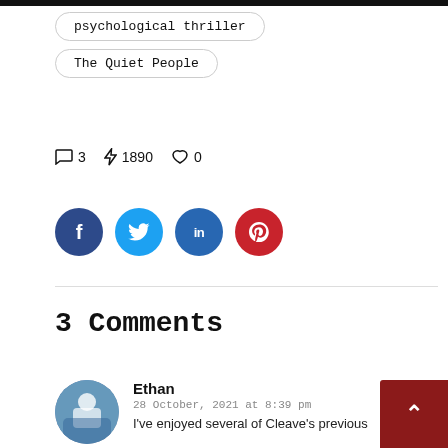psychological thriller
The Quiet People
3  1890  0
[Figure (infographic): Social media share buttons: Facebook (dark blue), Twitter (light blue), LinkedIn (blue), Pinterest (red)]
3 Comments
Ethan
28 October, 2021 at 8:39 pm
I've enjoyed several of Cleave's previous